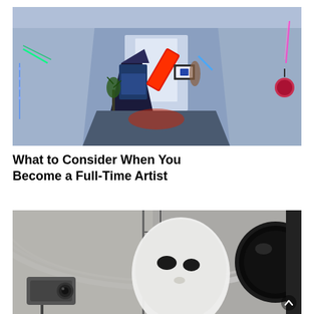[Figure (photo): Interior of an art gallery with blue/purple lighting. Sculptural installations visible including draped fabric figures, a glowing red neon sign tilted diagonally, green neon lights, hanging objects on the right wall, and a small plant. The corridor recedes toward a lit doorway.]
What to Consider When You Become a Full-Time Artist
[Figure (photo): Partial view of an art installation or museum interior in black and white/grayscale. A large white mask-like sculptural form is visible, along with a black circular object on the right and industrial scaffolding or equipment in the background.]